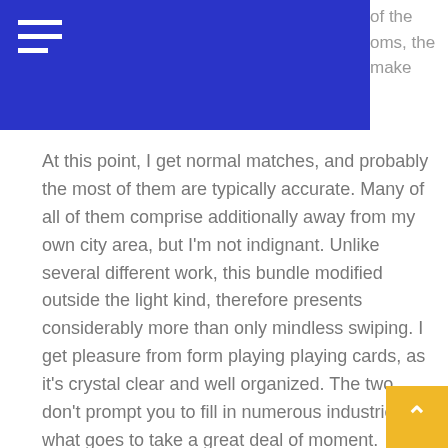of the wonderful features. With oms, the corporate has invited all make associates on-line.
At this point, I get normal matches, and probably the most of them are typically accurate. Many of all of them comprise additionally away from my own city area, but I’m not indignant. Unlike several different work, this bundle modified outside the light kind, therefore presents considerably more than only mindless swiping. I get pleasure from form playing playing cards, as it’s crystal clear and well organized. The two don’t prompt you to fill in numerous industries what goes to take a great deal of moment.
There are minimal faux profiles on the positioning and no scammers.
All toolbars and sidebars are displayed in